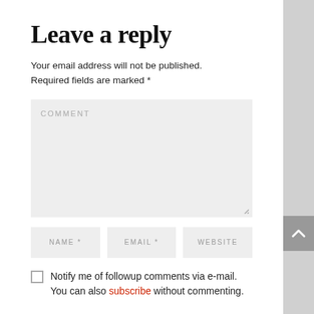Leave a reply
Your email address will not be published. Required fields are marked *
[Figure (screenshot): Comment text area input field with placeholder text COMMENT and resize handle]
[Figure (screenshot): Three form input fields labeled NAME *, EMAIL *, and WEBSITE]
Notify me of followup comments via e-mail. You can also subscribe without commenting.